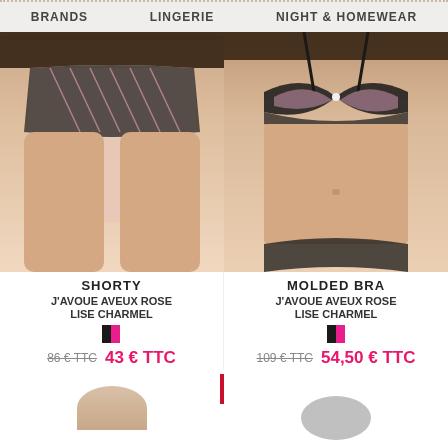BRANDS   LINGERIE   NIGHT & HOMEWEAR
[Figure (photo): Lingerie product photo: Shorty J'AVOUE AVEUX ROSE by Lise Charmel — black and pink lace shorty underwear on model]
[Figure (photo): Lingerie product photo: Molded Bra J'AVOUE AVEUX ROSE by Lise Charmel — black and pink lace push-up bra on model]
SHORTY
J'AVOUE AVEUX ROSE
LISE CHARMEL
86 € TTC   43 € TTC
MOLDED BRA
J'AVOUE AVEUX ROSE
LISE CHARMEL
109 € TTC   54,50 € TTC